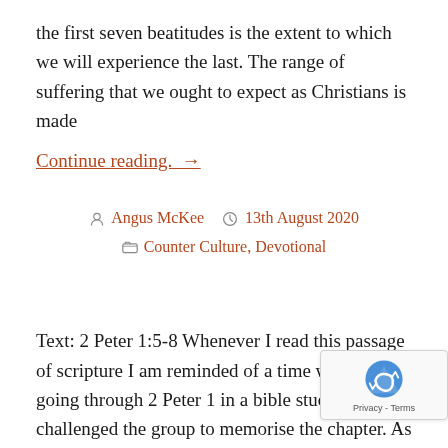the first seven beatitudes is the extent to which we will experience the last. The range of suffering that we ought to expect as Christians is made
Continue reading.  →
Angus McKee   13th August 2020   Counter Culture, Devotional
Text: 2 Peter 1:5-8 Whenever I read this passage of scripture I am reminded of a time when I was going through 2 Peter 1 in a bible study. I challenged the group to memorise the chapter. As an added inc I promised to bake a cake for the first person to Eventually